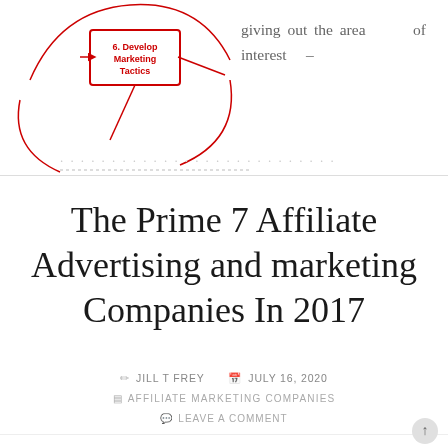[Figure (infographic): Partial diagram showing a node labeled '6. Develop Marketing Tactics' in red box with arrows, part of a marketing planning cycle diagram.]
giving out the area of interest –
The Prime 7 Affiliate Advertising and marketing Companies In 2017
JILL T FREY   JULY 16, 2020
AFFILIATE MARKETING COMPANIES
LEAVE A COMMENT
[Figure (infographic): Affiliate marketing process illustration: newspaper/ad → arrow → box with gift/item → arrow → envelope with money, with caption 'Someone clicks the ad on... buys the advertised... and you receive a']
Building an viewers on your website will, in some